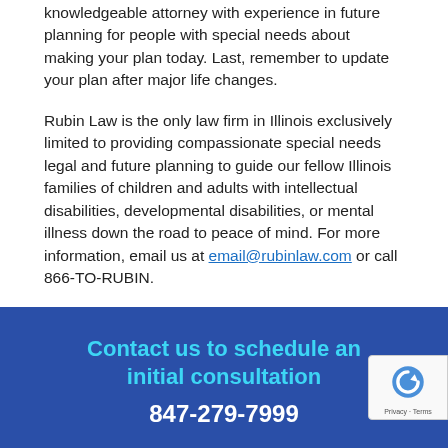knowledgeable attorney with experience in future planning for people with special needs about making your plan today. Last, remember to update your plan after major life changes.
Rubin Law is the only law firm in Illinois exclusively limited to providing compassionate special needs legal and future planning to guide our fellow Illinois families of children and adults with intellectual disabilities, developmental disabilities, or mental illness down the road to peace of mind. For more information, email us at email@rubinlaw.com or call 866-TO-RUBIN.
Contact us to schedule an initial consultation
847-279-7999